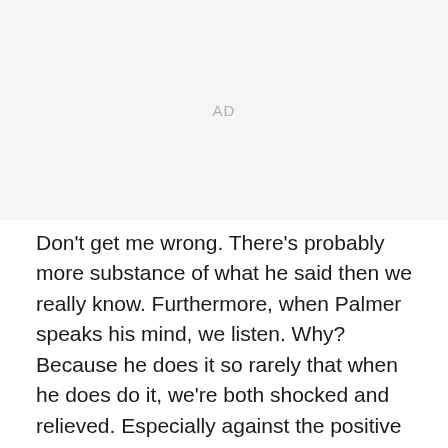[Figure (other): Advertisement placeholder block showing 'AD' text label in light gray]
Don't get me wrong. There's probably more substance of what he said then we really know. Furthermore, when Palmer speaks his mind, we listen. Why? Because he does it so rarely that when he does do it, we're both shocked and relieved. Especially against the positive appraisal of head coach Marvin Lewis regarding his staff. No, I don't think there's division. No, I don't think Palmer's comments were a bad thing. Yes,